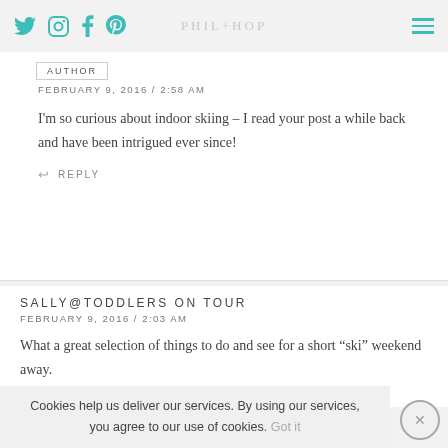PHIL+HOP (navigation bar with social icons and hamburger menu)
AUTHOR
FEBRUARY 9, 2016 / 2:58 AM
I'm so curious about indoor skiing – I read your post a while back and have been intrigued ever since!
REPLY
SALLY@TODDLERS ON TOUR
FEBRUARY 9, 2016 / 2:03 AM
What a great selection of things to do and see for a short “ski” weekend away.
REPLY
Cookies help us deliver our services. By using our services, you agree to our use of cookies. Got it